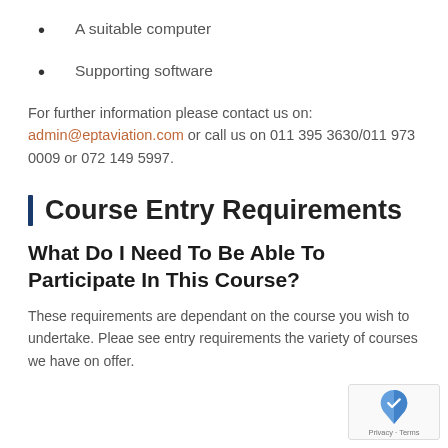A suitable computer
Supporting software
For further information please contact us on: admin@eptaviation.com or call us on 011 395 3630/011 973 0009 or 072 149 5997.
Course Entry Requirements
What Do I Need To Be Able To Participate In This Course?
These requirements are dependant on the course you wish to undertake. Pleae see entry requirements the variety of courses we have on offer.